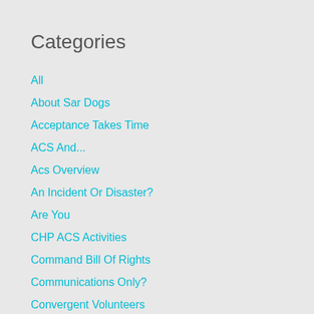Categories
All
About Sar Dogs
Acceptance Takes Time
ACS And...
Acs Overview
An Incident Or Disaster?
Are You
CHP ACS Activities
Command Bill Of Rights
Communications Only?
Convergent Volunteers
Emergency Means What?
Emergency Water Storage
Eternal Vigilance!
Floods And Changes
Focus - Ability Levels